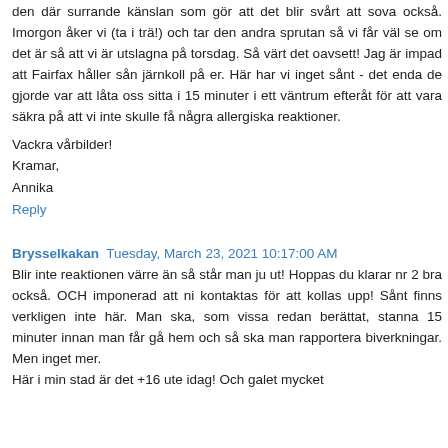den där surrande känslan som gör att det blir svårt att sova också. Imorgon åker vi (ta i trä!) och tar den andra sprutan så vi får väl se om det är så att vi är utslagna på torsdag. Så värt det oavsett! Jag är impad att Fairfax håller sån järnkoll på er. Här har vi inget sånt - det enda de gjorde var att låta oss sitta i 15 minuter i ett väntrum efteråt för att vara säkra på att vi inte skulle få några allergiska reaktioner.
Vackra vårbilder!
Kramar,
Annika
Reply
Brysselkakan Tuesday, March 23, 2021 10:17:00 AM
Blir inte reaktionen värre än så står man ju ut! Hoppas du klarar nr 2 bra också. OCH imponerad att ni kontaktas för att kollas upp! Sånt finns verkligen inte här. Man ska, som vissa redan berättat, stanna 15 minuter innan man får gå hem och så ska man rapportera biverkningar. Men inget mer.
Här i min stad är det +16 ute idag! Och galet mycket